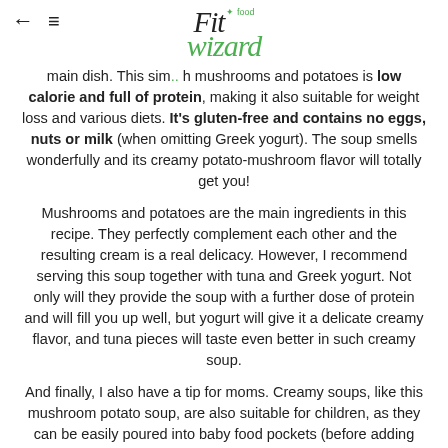Fit food wizard
main dish. This sim... with mushrooms and potatoes is low calorie and full of protein, making it also suitable for weight loss and various diets. It's gluten-free and contains no eggs, nuts or milk (when omitting Greek yogurt). The soup smells wonderfully and its creamy potato-mushroom flavor will totally get you!
Mushrooms and potatoes are the main ingredients in this recipe. They perfectly complement each other and the resulting cream is a real delicacy. However, I recommend serving this soup together with tuna and Greek yogurt. Not only will they provide the soup with a further dose of protein and will fill you up well, but yogurt will give it a delicate creamy flavor, and tuna pieces will taste even better in such creamy soup.
And finally, I also have a tip for moms. Creamy soups, like this mushroom potato soup, are also suitable for children, as they can be easily poured into baby food pockets (before adding tuna to the soup). Not only children will eat more, but at the same time, they will not make a lot of mess. But be careful of strong